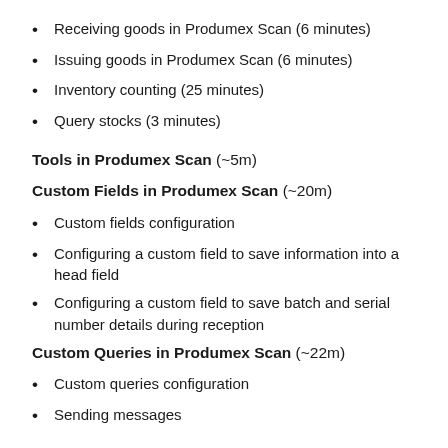Receiving goods in Produmex Scan (6 minutes)
Issuing goods in Produmex Scan (6 minutes)
Inventory counting (25 minutes)
Query stocks (3 minutes)
Tools in Produmex Scan (~5m)
Custom Fields in Produmex Scan (~20m)
Custom fields configuration
Configuring a custom field to save information into a head field
Configuring a custom field to save batch and serial number details during reception
Custom Queries in Produmex Scan (~22m)
Custom queries configuration
Sending messages